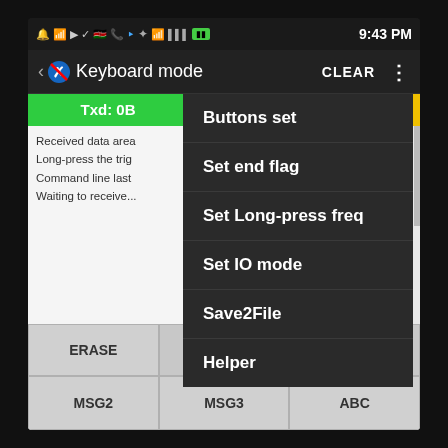[Figure (screenshot): Android smartphone screenshot showing a Bluetooth keyboard mode app with a dropdown context menu open. The menu contains options: Buttons set, Set end flag, Set Long-press freq, Set IO mode, Save2File, Helper. The status bar shows time 9:43 PM. The app has a Txd:0B bar and text area showing received data messages. Bottom buttons include ERASE, MSG2, MSG3, ABC.]